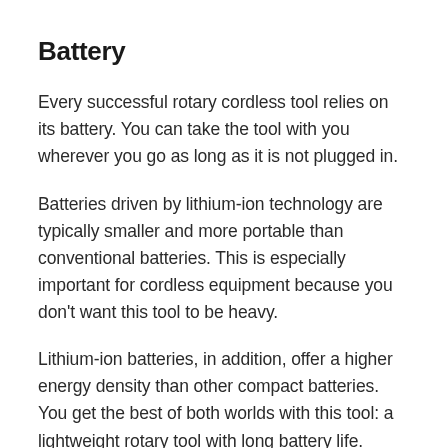Battery
Every successful rotary cordless tool relies on its battery. You can take the tool with you wherever you go as long as it is not plugged in.
Batteries driven by lithium-ion technology are typically smaller and more portable than conventional batteries. This is especially important for cordless equipment because you don't want this tool to be heavy.
Lithium-ion batteries, in addition, offer a higher energy density than other compact batteries. You get the best of both worlds with this tool: a lightweight rotary tool with long battery life.